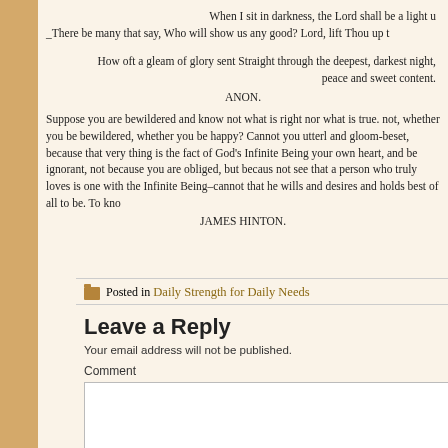When I sit in darkness, the Lord shall be a light u
_There be many that say, Who will show us any good? Lord, lift Thou up t
How oft a gleam of glory sent Straight through the deepest, darkest night,
peace and sweet content.
ANON.
Suppose you are bewildered and know not what is right nor what is true. not, whether you be bewildered, whether you be happy? Cannot you utterl and gloom-beset, because that very thing is the fact of God’s Infinite Being your own heart, and be ignorant, not because you are obliged, but becaus not see that a person who truly loves is one with the Infinite Being–cannot that he wills and desires and holds best of all to be. To kno
JAMES HINTON.
Posted in Daily Strength for Daily Needs
Leave a Reply
Your email address will not be published.
Comment